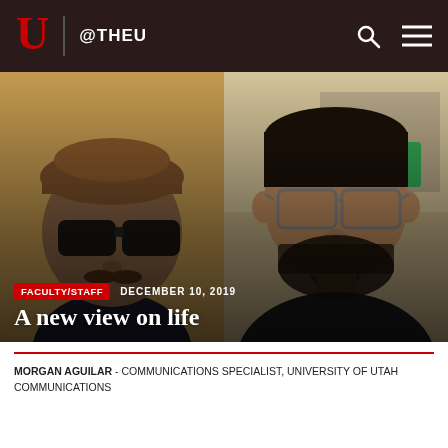U @THEU
[Figure (photo): Two men posing for a photo: on the left, an older man wearing dark wraparound sunglasses and a brown cap; on the right, a younger man with glasses and a beard, smiling]
FACULTY/STAFF   DECEMBER 10, 2019
A new view on life
MORGAN AGUILAR - COMMUNICATIONS SPECIALIST, UNIVERSITY OF UTAH COMMUNICATIONS